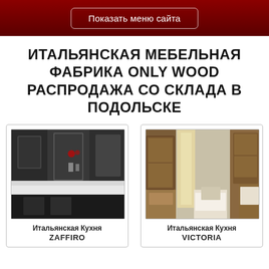Показать меню сайта
ИТАЛЬЯНСКАЯ МЕБЕЛЬНАЯ ФАБРИКА ONLY WOOD РАСПРОДАЖА СО СКЛАДА В ПОДОЛЬСКЕ
[Figure (photo): Black Italian luxury kitchen interior with dark cabinets and white countertops]
Итальянская Кухня ZAFFIRO
[Figure (photo): Brown classic Italian kitchen interior with wooden cabinets and golden curtains]
Итальянская Кухня VICTORIA